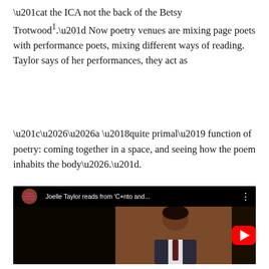“at the ICA not the back of the Betsy Trotwood¹.” Now poetry venues are mixing page poets with performance poets, mixing different ways of reading. Taylor says of her performances, they act as
“……a ‘quite primal’ function of poetry: coming together in a space, and seeing how the poem inhabits the body….”.
[Figure (screenshot): YouTube video thumbnail showing Joelle Taylor reading from 'C+nto and...' with a play button overlay. The thumbnail shows a person in a dark suit and tie against a warm-toned background. The YouTube bar at top shows the video title and a three-dot menu.]